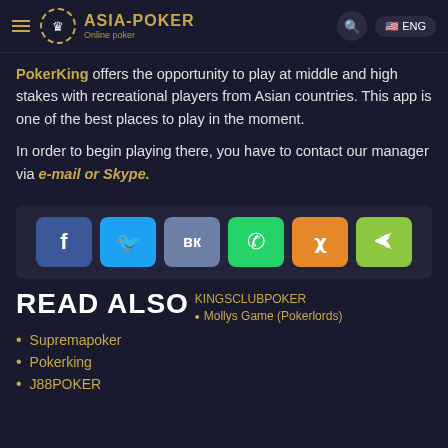ASIA-POKER Online poker
PokerKing offers the opportunity to play at middle and high stakes with recreational players from Asian countries. This app is one of the best places to play in the moment.
In order to begin playing there, you have to contact our manager via e-mail or Skype.
[Figure (other): Social share buttons: Facebook, Twitter, VK, WhatsApp, Weibo, Share]
READ ALSO
KINGSCLUBPOKER
Mollys Game (Pokerlords)
Supremapoker
Pokerking
J88POKER